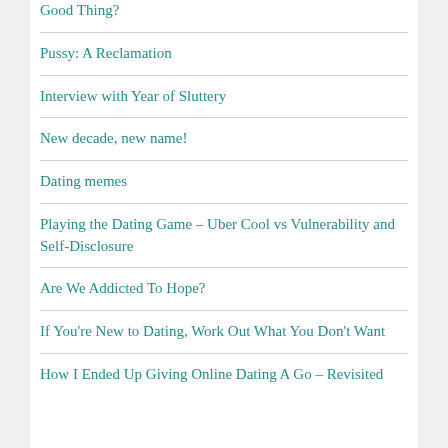Good Thing?
Pussy: A Reclamation
Interview with Year of Sluttery
New decade, new name!
Dating memes
Playing the Dating Game – Uber Cool vs Vulnerability and Self-Disclosure
Are We Addicted To Hope?
If You're New to Dating, Work Out What You Don't Want
How I Ended Up Giving Online Dating A Go – Revisited